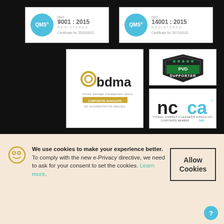[Figure (logo): QMS ISO 9001:2015 Registered certificate logo, Certificate No 352002021]
[Figure (logo): QMS ISO 14001:2015 Registered certificate logo, Certificate No 387162022]
[Figure (logo): BDMA British Damage Management Association Corporate Associate logo]
[Figure (logo): PVD Supporter badge logo]
[Figure (logo): NCCA National Carpet Cleaners Association Corporate Member 2020 logo]
We use cookies to make your experience better. To comply with the new e-Privacy directive, we need to ask for your consent to set the cookies. Learn more.
Allow Cookies